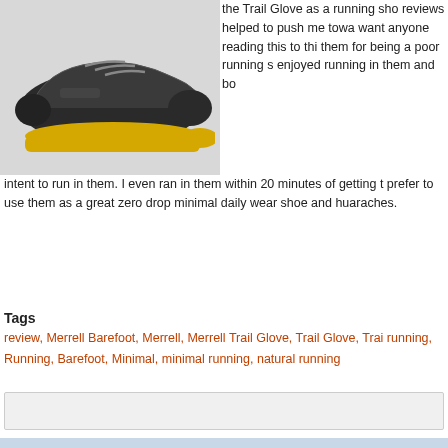[Figure (photo): A Merrell Trail Glove minimalist running shoe, black and yellow, viewed from the side on a light gray background.]
the Trail Glove as a running shoe. reviews helped to push me toward want anyone reading this to think them for being a poor running sh enjoyed running in them and bo intent to run in them. I even ran in them within 20 minutes of getting t prefer to use them as a great zero drop minimal daily wear shoe and huaraches.
Tags
review, Merrell Barefoot, Merrell, Merrell Trail Glove, Trail Glove, Trai running, Running, Barefoot, Minimal, minimal running, natural running